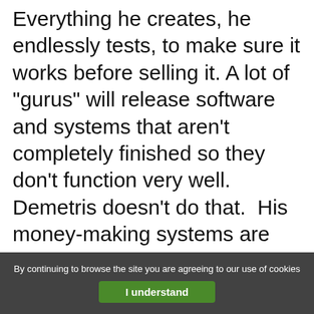Everything he creates, he endlessly tests, to make sure it works before selling it. A lot of "gurus" will release software and systems that aren't completely finished so they don't function very well. Demetris doesn't do that.  His money-making systems are finely tuned machines that work really well.
So, that's another reason why I highly recommend Pinbank, is because Demetris Papadopoulos is the "Anti Guru" behind it.
By continuing to browse the site you are agreeing to our use of cookies